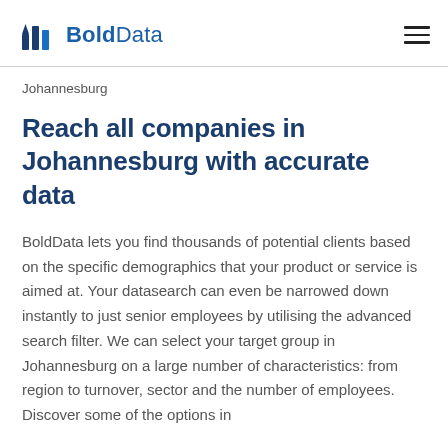BoldData
Johannesburg
Reach all companies in Johannesburg with accurate data
BoldData lets you find thousands of potential clients based on the specific demographics that your product or service is aimed at. Your datasearch can even be narrowed down instantly to just senior employees by utilising the advanced search filter. We can select your target group in Johannesburg on a large number of characteristics: from region to turnover, sector and the number of employees. Discover some of the options in